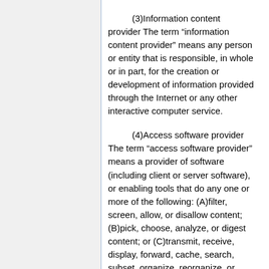(3)Information content provider The term “information content provider” means any person or entity that is responsible, in whole or in part, for the creation or development of information provided through the Internet or any other interactive computer service.
(4)Access software provider The term “access software provider” means a provider of software (including client or server software), or enabling tools that do any one or more of the following: (A)filter, screen, allow, or disallow content; (B)pick, choose, analyze, or digest content; or (C)transmit, receive, display, forward, cache, search, subset, organize, reorganize, or translate content. (June 19, 1934, ch. 652, title II, §230, as added Pub. L. 104–104, title V,